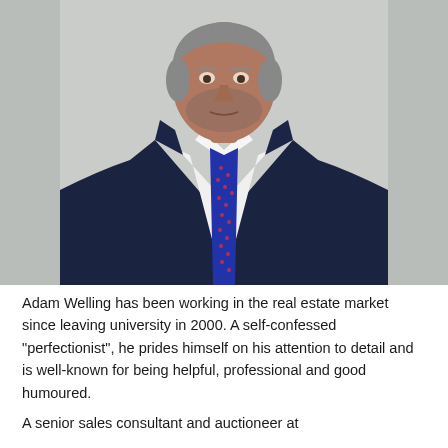[Figure (photo): Professional portrait photo of Adam Welling, a middle-aged man with grey stubble beard, wearing a navy blue suit, white dress shirt, and a blue patterned tie with pink/red dots. He is photographed from the chest up against a light grey background, with hands at his sides.]
Adam Welling has been working in the real estate market since leaving university in 2000. A self-confessed "perfectionist", he prides himself on his attention to detail and is well-known for being helpful, professional and good humoured.
A senior sales consultant and auctioneer at